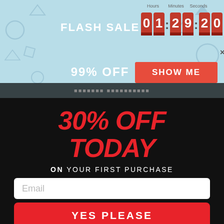[Figure (screenshot): Flash sale banner with countdown timer showing 01:29:20, 99% OFF text, and SHOW ME button on light blue background with geometric shapes]
30% OFF TODAY
ON YOUR FIRST PURCHASE
Email (input field placeholder)
YES PLEASE (button)
DECLINE ONE TIME OFFER